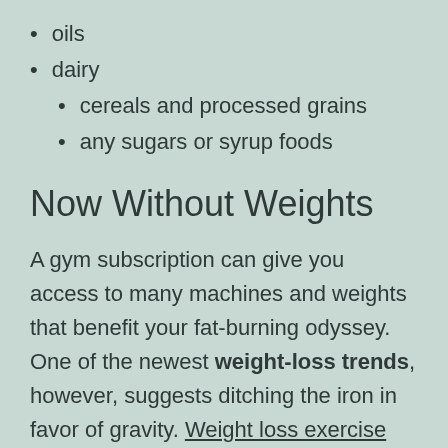oils
dairy
cereals and processed grains
any sugars or syrup foods
Now Without Weights
A gym subscription can give you access to many machines and weights that benefit your fat-burning odyssey. One of the newest weight-loss trends, however, suggests ditching the iron in favor of gravity. Weight loss exercise that only uses the